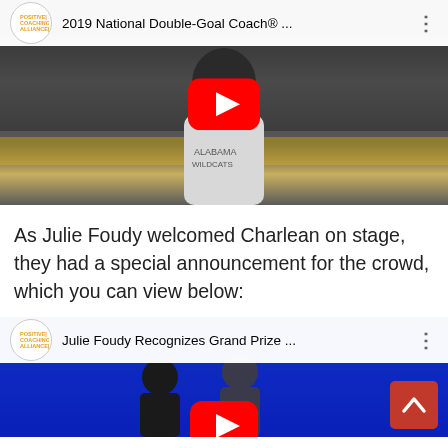[Figure (screenshot): YouTube video thumbnail showing a young man in an Alabama Wildcats shirt, with Positive Coaching Alliance logo and title '2019 National Double-Goal Coach® ...' in the video bar, and a red play button in the center.]
As Julie Foudy welcomed Charlean on stage, they had a special announcement for the crowd, which you can view below:
[Figure (screenshot): YouTube video thumbnail showing two women on a blue-lit stage, with Positive Coaching Alliance logo and title 'Julie Foudy Recognizes Grand Prize ...' in the video bar, and a red play button visible at the bottom. A red scroll-up button is visible in the bottom right.]